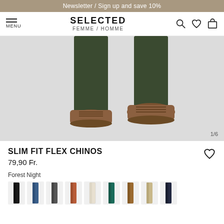Newsletter / Sign up and save 10%
SELECTED FEMME / HOMME
[Figure (photo): Close-up of two legs wearing dark olive slim fit chinos and tan suede lace-up shoes on a light grey background. Image counter shows 1/6.]
SLIM FIT FLEX CHINOS
79,90 Fr.
Forest Night
[Figure (photo): Color swatches row showing pants in: black, blue denim, dark grey, rust/terracotta, off-white/cream, teal, tan/brown, beige/khaki, dark navy/black]